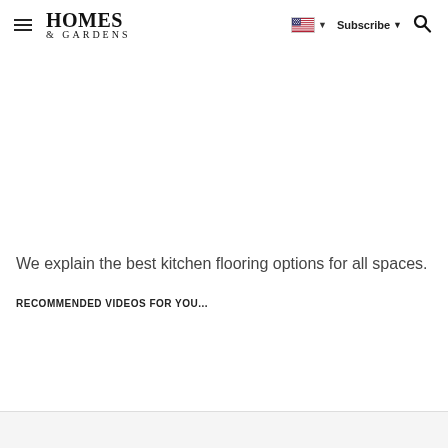HOMES & GARDENS — Subscribe
We explain the best kitchen flooring options for all spaces.
RECOMMENDED VIDEOS FOR YOU...